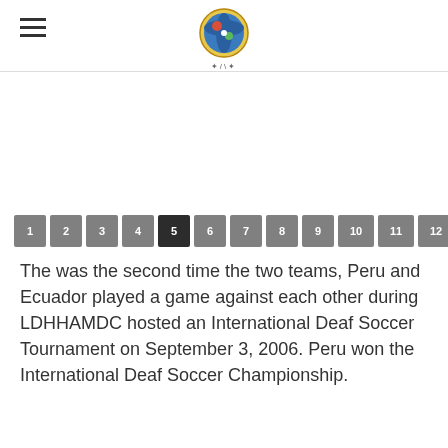LDHHAMDC website header with logo and navigation
[Figure (logo): Circular logo with colorful imagery for LDHHAMDC organization]
1
2
3
4
5 (active)
6
7
8
9
10
11
12
13
The was the second time the two teams, Peru and Ecuador played a game against each other during LDHHAMDC hosted an International Deaf Soccer Tournament on September 3, 2006. Peru won the International Deaf Soccer Championship.